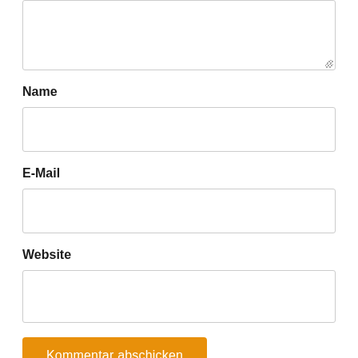[Figure (screenshot): Partially visible textarea input box at the top of the form, with resize handle in bottom-right corner]
Name
[Figure (screenshot): Empty text input field for Name]
E-Mail
[Figure (screenshot): Empty text input field for E-Mail]
Website
[Figure (screenshot): Empty text input field for Website]
Kommentar abschicken